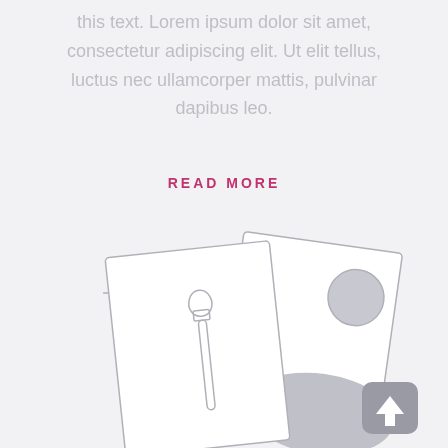this text. Lorem ipsum dolor sit amet, consectetur adipiscing elit. Ut elit tellus, luctus nec ullamcorper mattis, pulvinar dapibus leo.
READ MORE
[Figure (illustration): Two overlapping card/image placeholders with a paint brush icon on the front card and a photo placeholder icon (circle and landscape shape) on the back card, plus two small plus signs. A dark rounded square with an up arrow icon appears in the bottom right.]